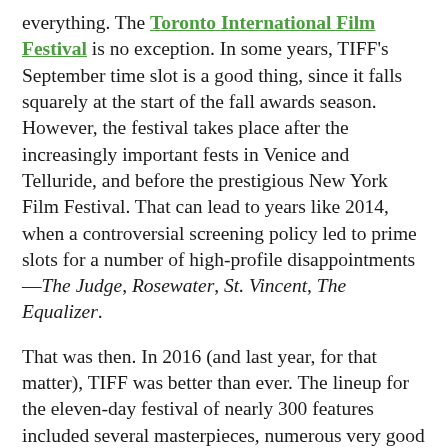everything. The Toronto International Film Festival is no exception. In some years, TIFF's September time slot is a good thing, since it falls squarely at the start of the fall awards season. However, the festival takes place after the increasingly important fests in Venice and Telluride, and before the prestigious New York Film Festival. That can lead to years like 2014, when a controversial screening policy led to prime slots for a number of high-profile disappointments —The Judge, Rosewater, St. Vincent, The Equalizer.
That was then. In 2016 (and last year, for that matter), TIFF was better than ever. The lineup for the eleven-day festival of nearly 300 features included several masterpieces, numerous very good films, and very few all-out disasters. It's possible—if not likely—that this year's Oscar winners in the Best Picture, Director, Actor, Actress, Supporting Actor, and Supporting Actress categories all played the festival. (I'm talking about La La Land, Damien Chazelle, Casey Affleck, Natalie Portman, Michael Shannon, and Michelle Williams. And yes, it is